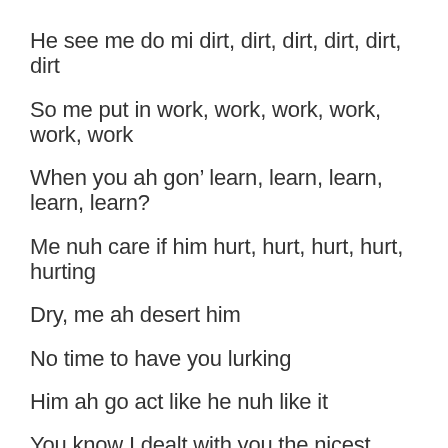He see me do mi dirt, dirt, dirt, dirt, dirt, dirt
So me put in work, work, work, work, work, work
When you ah gon' learn, learn, learn, learn, learn?
Me nuh care if him hurt, hurt, hurt, hurt, hurting
Dry, me ah desert him
No time to have you lurking
Him ah go act like he nuh like it
You know I dealt with you the nicest
Nuh body touch me you nuh righteous